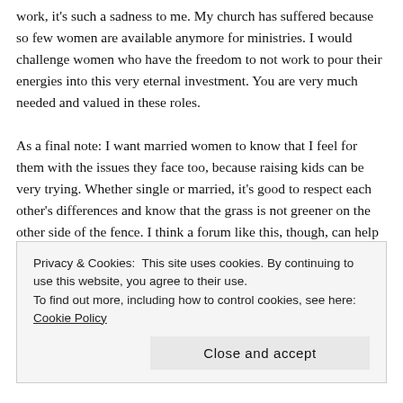work, it's such a sadness to me. My church has suffered because so few women are available anymore for ministries. I would challenge women who have the freedom to not work to pour their energies into this very eternal investment. You are very much needed and valued in these roles.

As a final note: I want married women to know that I feel for them with the issues they face too, because raising kids can be very trying. Whether single or married, it's good to respect each other's differences and know that the grass is not greener on the other side of the fence. I think a forum like this, though, can help us better understand and support each other as members of the whole family of God. I do not have time to read this now, but there will be...
Privacy & Cookies: This site uses cookies. By continuing to use this website, you agree to their use.
To find out more, including how to control cookies, see here: Cookie Policy
Close and accept